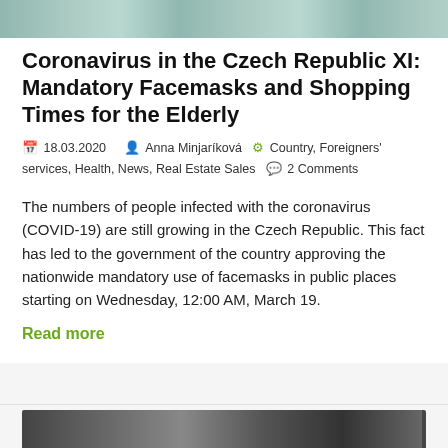[Figure (photo): Top banner image, partially visible, appears to be an outdoor scene]
Coronavirus in the Czech Republic XI: Mandatory Facemasks and Shopping Times for the Elderly
18.03.2020  Anna Minjaríková  Country, Foreigners' services, Health, News, Real Estate Sales  2 Comments
The numbers of people infected with the coronavirus (COVID-19) are still growing in the Czech Republic. This fact has led to the government of the country approving the nationwide mandatory use of facemasks in public places starting on Wednesday, 12:00 AM, March 19.
Read more
[Figure (photo): Bottom image, partially visible, appears to be a person wearing a mask or outdoor scene]